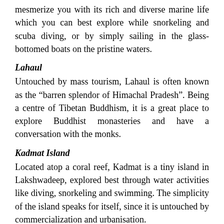mesmerize you with its rich and diverse marine life which you can best explore while snorkeling and scuba diving, or by simply sailing in the glass-bottomed boats on the pristine waters.
Lahaul
Untouched by mass tourism, Lahaul is often known as the “barren splendor of Himachal Pradesh”. Being a centre of Tibetan Buddhism, it is a great place to explore Buddhist monasteries and have a conversation with the monks.
Kadmat Island
Located atop a coral reef, Kadmat is a tiny island in Lakshwadeep, explored best through water activities like diving, snorkeling and swimming. The simplicity of the island speaks for itself, since it is untouched by commercialization and urbanisation.